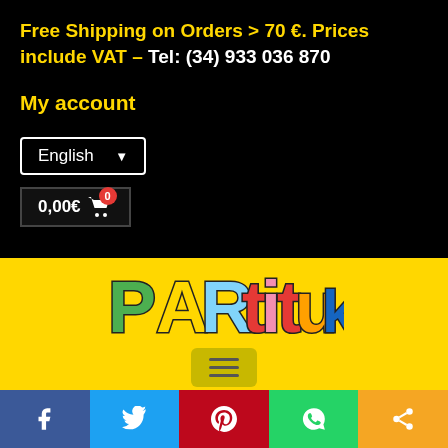Free Shipping on Orders > 70 €. Prices include VAT – Tel: (34) 933 036 870
My account
English ▼
0,00€ 🛒 0
[Figure (logo): Partituki colorful logo on yellow background]
[Figure (other): Hamburger menu icon (three horizontal lines)]
[Figure (other): Social media share bar: Facebook, Twitter, Pinterest, WhatsApp, Share buttons]